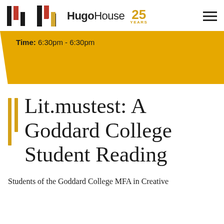Hugo House 25 YEARS
Time: 6:30pm - 6:30pm
Lit.mustest: A Goddard College Student Reading
Students of the Goddard College MFA in Creative